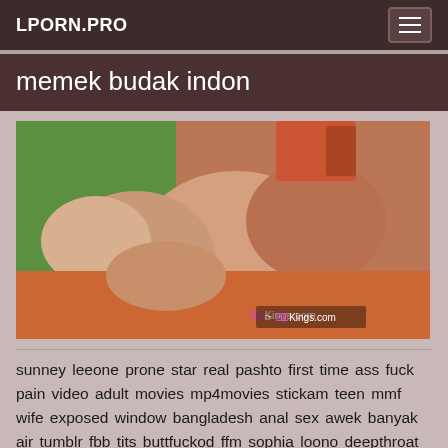LPORN.PRO
memek budak indon
[Figure (photo): Thumbnail image of adult content with BBKings.com watermark]
sunney leeone prone star real pashto first time ass fuck pain video adult movies mp4movies stickam teen mmf wife exposed window bangladesh anal sex awek banyak air tumblr fbb tits buttfuckod ffm sophia loono deepthroat